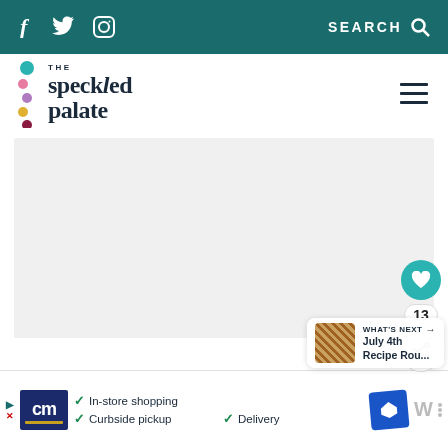f  Twitter  Instagram    SEARCH
[Figure (logo): The Speckled Palate logo with colorful dots and serif text]
[Figure (photo): Main content image placeholder (light gray)]
13
WHAT'S NEXT → July 4th Recipe Rou...
...
[Figure (screenshot): Advertisement banner: cm logo, In-store shopping, Curbside pickup, Delivery with navigation arrow icon]